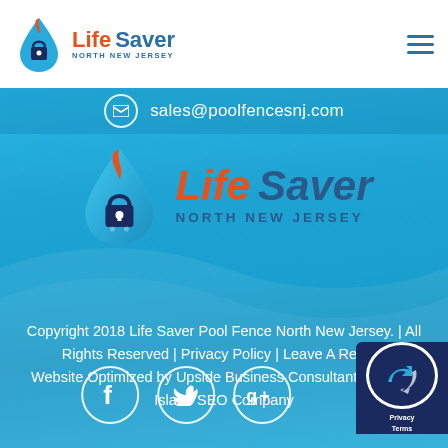Life Saver North New Jersey logo and navigation menu
sales@poolfencesnj.com
[Figure (logo): Life Saver North New Jersey logo — large centered version on blue background]
Copyright 2018 Life Saver Pool Fence North New Jersey. | All Rights Reserved | Privacy Policy | Leave A Review
Website Optimized by Upside Business Consultants, a Long Island SEO Company
[Figure (illustration): Social media icons: Facebook, Twitter, Google+ circles; plus Clutch badge in bottom right corner]